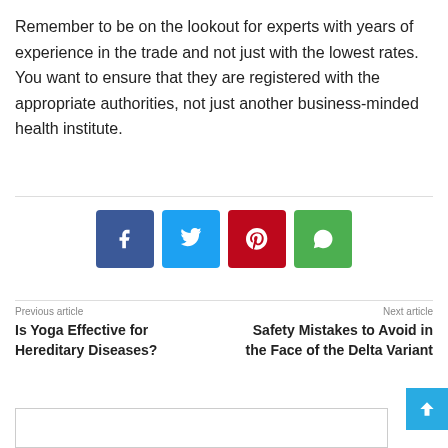Remember to be on the lookout for experts with years of experience in the trade and not just with the lowest rates. You want to ensure that they are registered with the appropriate authorities, not just another business-minded health institute.
[Figure (other): Social media share buttons: Facebook (blue), Twitter (light blue), Pinterest (red), WhatsApp (green)]
Previous article
Is Yoga Effective for Hereditary Diseases?
Next article
Safety Mistakes to Avoid in the Face of the Delta Variant